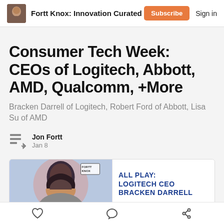Fortt Knox: Innovation Curated
Consumer Tech Week: CEOs of Logitech, Abbott, AMD, Qualcomm, +More
Bracken Darrell of Logitech, Robert Ford of Abbott, Lisa Su of AMD
Jon Fortt
Jan 8
[Figure (screenshot): Article thumbnail image split into two panels: left panel shows illustrated portrait of a person with Fortt Knox logo badge, right panel shows text ALL PLAY: LOGITECH CEO BRACKEN DARRELL in bold blue text on white background]
Like | Comment | Share